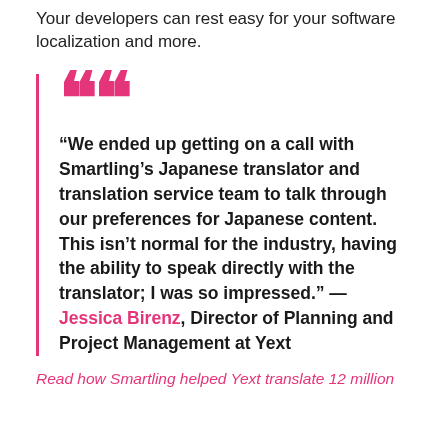Your developers can rest easy for your software localization and more.
“We ended up getting on a call with Smartling’s Japanese translator and translation service team to talk through our preferences for Japanese content. This isn’t normal for the industry, having the ability to speak directly with the translator; I was so impressed.” — Jessica Birenz, Director of Planning and Project Management at Yext
Read how Smartling helped Yext translate 12 million